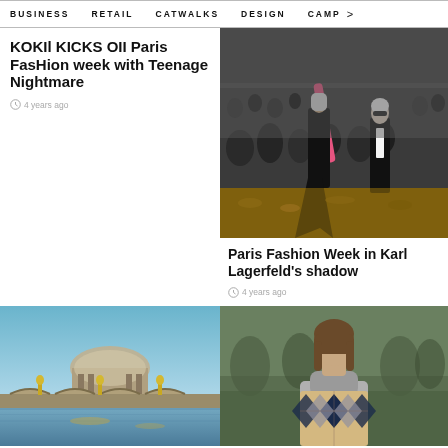BUSINESS   RETAIL   CATWALKS   DESIGN   CAMP >
KOKIl KICKS OII Paris FasHion week with Teenage Nightmare
4 years ago
[Figure (photo): Fashion show photo with Karl Lagerfeld and models on catwalk with autumn leaves]
Paris Fashion Week in Karl Lagerfeld's shadow
4 years ago
[Figure (photo): Paris Grand Palais and bridge at dusk with golden lights]
[Figure (photo): Female model wearing argyle patterned sweater on runway]